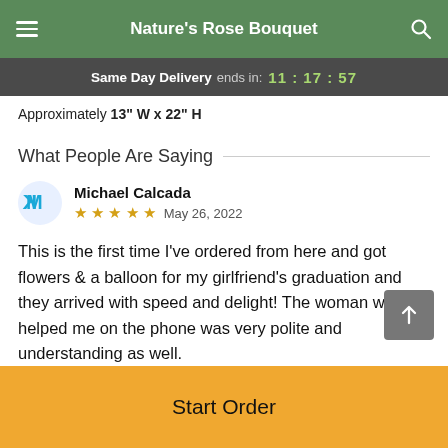Nature's Rose Bouquet
Same Day Delivery ends in: 11:17:57
Approximately 13" W x 22" H
What People Are Saying
Michael Calcada
★★★★★  May 26, 2022
This is the first time I've ordered from here and got flowers & a balloon for my girlfriend's graduation and they arrived with speed and delight! The woman who helped me on the phone was very polite and understanding as well.
Start Order